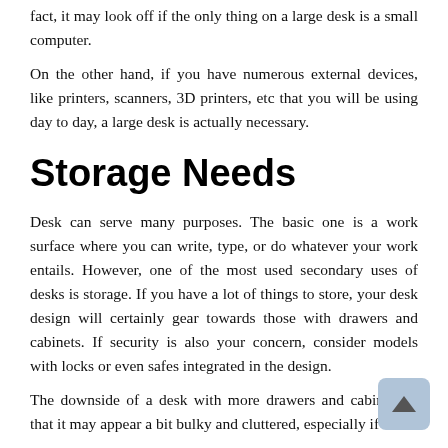fact, it may look off if the only thing on a large desk is a small computer.
On the other hand, if you have numerous external devices, like printers, scanners, 3D printers, etc that you will be using day to day, a large desk is actually necessary.
Storage Needs
Desk can serve many purposes. The basic one is a work surface where you can write, type, or do whatever your work entails. However, one of the most used secondary uses of desks is storage. If you have a lot of things to store, your desk design will certainly gear towards those with drawers and cabinets. If security is also your concern, consider models with locks or even safes integrated in the design.
The downside of a desk with more drawers and cabinets is that it may appear a bit bulky and cluttered, especially if